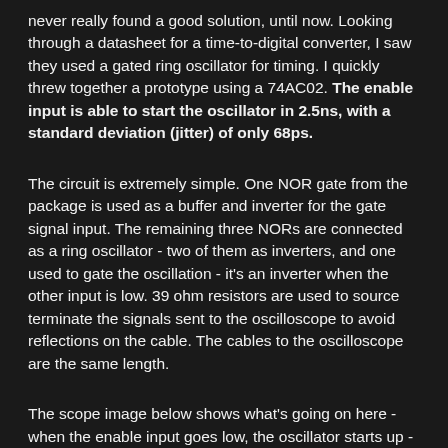never really found a good solution, until now.  Looking through a datasheet for a time-to-digital converter, I saw they used a gated ring oscillator for timing.  I quickly threw together a prototype using a 74AC02. The enable input is able to start the oscillator in 2.5ns, with a standard deviation (jitter) of only 68ps.
The circuit is extremely simple.  One NOR gate from the package is used as a buffer and inverter for the gate signal input.  The remaining three NORs are connected as a ring oscillator - two of them as inverters, and one used to gate the oscillation - it's an inverter when the other input is low.  39 ohm resistors are used to source terminate the signals sent to the oscilloscope to avoid reflections on the cable.  The cables to the oscilloscope are the same length.
The scope image below shows what's going on here - when the enable input goes low, the oscillator starts up -